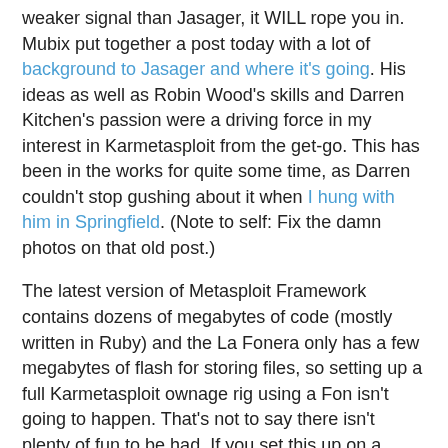weaker signal than Jasager, it WILL rope you in. Mubix put together a post today with a lot of background to Jasager and where it's going. His ideas as well as Robin Wood's skills and Darren Kitchen's passion were a driving force in my interest in Karmetasploit from the get-go. This has been in the works for quite some time, as Darren couldn't stop gushing about it when I hung with him in Springfield. (Note to self: Fix the damn photos on that old post.)
The latest version of Metasploit Framework contains dozens of megabytes of code (mostly written in Ruby) and the La Fonera only has a few megabytes of flash for storing files, so setting up a full Karmetasploit ownage rig using a Fon isn't going to happen. That's not to say there isn't plenty of fun to be had. If you set this up on a public network, you can man-in-the-middle stuff with the Fon. Darren suggested using upside-down-ternet. You can do some hacking to make Jasager work with another full-fledged computer that can run Metasploit. The options are as limitless as your imagination even with a standalone Fon running Jasager. Be creative!
Now, on for some errata to Darren's howto: